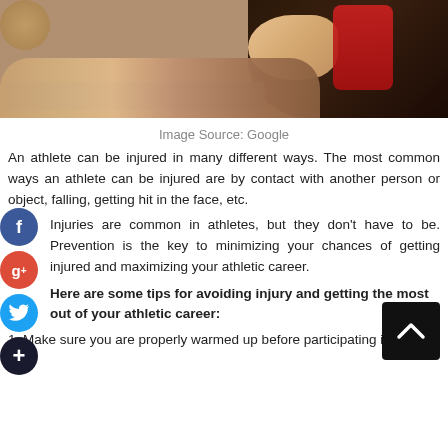[Figure (photo): Photo of a person lying on a treatment table, wearing a red top, with dark hair, being treated by a medical professional]
Image Source: Google
An athlete can be injured in many different ways. The most common ways an athlete can be injured are by contact with another person or object, falling, getting hit in the face, etc.
Injuries are common in athletes, but they don't have to be. Prevention is the key to minimizing your chances of getting injured and maximizing your athletic career.
Here are some tips for avoiding injury and getting the most out of your athletic career:
1. Make sure you are properly warmed up before participating in